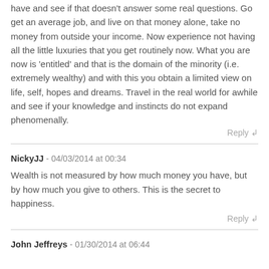have and see if that doesn't answer some real questions. Go get an average job, and live on that money alone, take no money from outside your income. Now experience not having all the little luxuries that you get routinely now. What you are now is 'entitled' and that is the domain of the minority (i.e. extremely wealthy) and with this you obtain a limited view on life, self, hopes and dreams. Travel in the real world for awhile and see if your knowledge and instincts do not expand phenomenally.
Reply
NickyJJ - 04/03/2014 at 00:34
Wealth is not measured by how much money you have, but by how much you give to others. This is the secret to happiness.
Reply
John Jeffreys - 01/30/2014 at 06:44